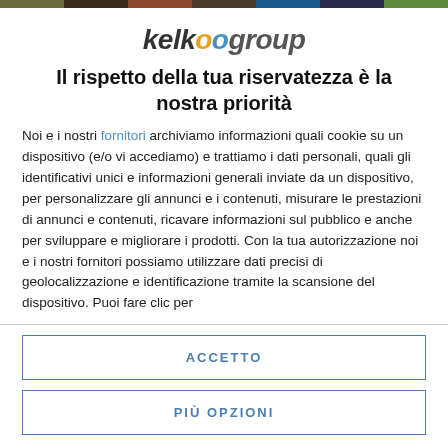[Figure (logo): Kelkoo Group logo in italic bold text with orange and blue double-o]
Il rispetto della tua riservatezza è la nostra priorità
Noi e i nostri fornitori archiviamo informazioni quali cookie su un dispositivo (e/o vi accediamo) e trattiamo i dati personali, quali gli identificativi unici e informazioni generali inviate da un dispositivo, per personalizzare gli annunci e i contenuti, misurare le prestazioni di annunci e contenuti, ricavare informazioni sul pubblico e anche per sviluppare e migliorare i prodotti. Con la tua autorizzazione noi e i nostri fornitori possiamo utilizzare dati precisi di geolocalizzazione e identificazione tramite la scansione del dispositivo. Puoi fare clic per
ACCETTO
PIÙ OPZIONI